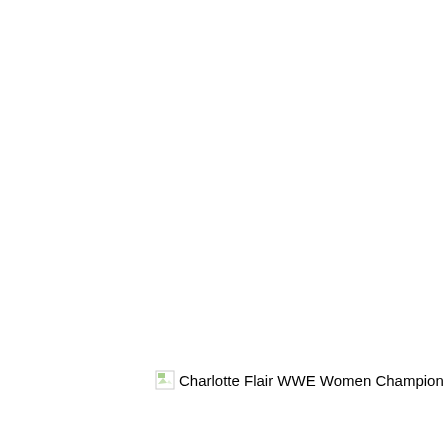[Figure (photo): A broken/missing image placeholder icon followed by the alt text 'Charlotte Flair WWE Women Champion' rendered as visible text on a white background.]